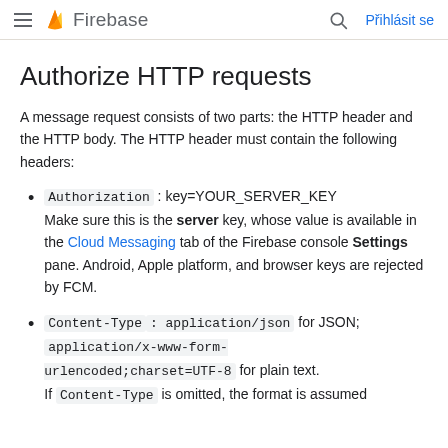Firebase — Přihlásit se
Authorize HTTP requests
A message request consists of two parts: the HTTP header and the HTTP body. The HTTP header must contain the following headers:
Authorization: key=YOUR_SERVER_KEY Make sure this is the server key, whose value is available in the Cloud Messaging tab of the Firebase console Settings pane. Android, Apple platform, and browser keys are rejected by FCM.
Content-Type: application/json for JSON; application/x-www-form-urlencoded;charset=UTF-8 for plain text. If Content-Type is omitted, the format is assumed